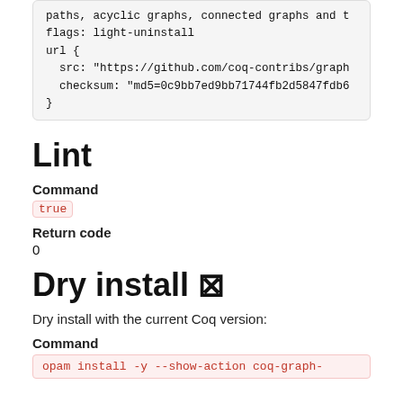paths, acyclic graphs, connected graphs and t
flags: light-uninstall
url {
  src: "https://github.com/coq-contribs/graph
  checksum: "md5=0c9bb7ed9bb71744fb2d5847fdb6
}
Lint
Command
true
Return code
0
Dry install ⊠
Dry install with the current Coq version:
Command
opam install -y --show-action coq-graph-